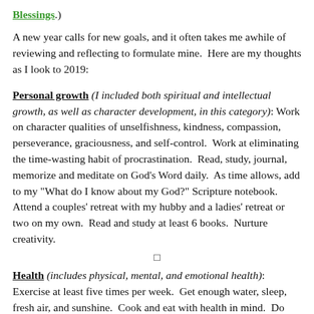Blessings.)
A new year calls for new goals, and it often takes me awhile of reviewing and reflecting to formulate mine.  Here are my thoughts as I look to 2019:
Personal growth (I included both spiritual and intellectual growth, as well as character development, in this category): Work on character qualities of unselfishness, kindness, compassion, perseverance, graciousness, and self-control.  Work at eliminating the time-wasting habit of procrastination.  Read, study, journal, memorize and meditate on God's Word daily.  As time allows, add to my "What do I know about my God?" Scripture notebook.  Attend a couples' retreat with my hubby and a ladies' retreat or two on my own.  Read and study at least 6 books.  Nurture creativity.
🔲
Health (includes physical, mental, and emotional health): Exercise at least five times per week.  Get enough water, sleep, fresh air, and sunshine.  Cook and eat with health in mind.  Do something creative or craft-related every day.  Journal and write as often as possible.  Continually cultivate